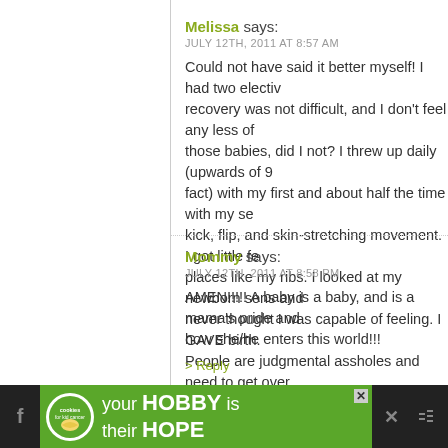Melissa says:
JULY 12TH, 2011 AT 8:57 AM
Could not have said it better myself! I had two elective c-sections (gasp!), recovery was not difficult, and I don't feel any less of a mother for it. I grew those babies, did I not? I threw up daily (upwards of 9 months, 2nd trimester in fact) with my first and about half the time with my second. I felt every hiccup, kick, flip, and skin-stretching movement. I got little feet jammed into painful places like my ribs. I looked at my newborn sons and felt a love and joy I never thought I was capable of feeling. I GAVE birth. Surgically. It still counts. People are judgmental assholes and need to get over themselves.
> Reply
Mommy says:
JULY 12TH, 2011 AT 8:58 PM
AMEN!!!!! A baby is a baby, and is a mama's pride and joy no matter how she/he enters this world!!!
> Reply
[Figure (infographic): Advertisement banner: cookies for kid cancer logo with 'your HOBBY is their HOPE' slogan on green background, flanked by dark social media icons]